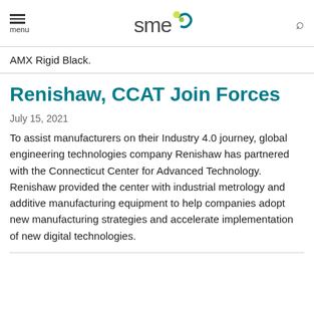menu | SME logo | search
AMX Rigid Black.
Renishaw, CCAT Join Forces
July 15, 2021
To assist manufacturers on their Industry 4.0 journey, global engineering technologies company Renishaw has partnered with the Connecticut Center for Advanced Technology. Renishaw provided the center with industrial metrology and additive manufacturing equipment to help companies adopt new manufacturing strategies and accelerate implementation of new digital technologies.